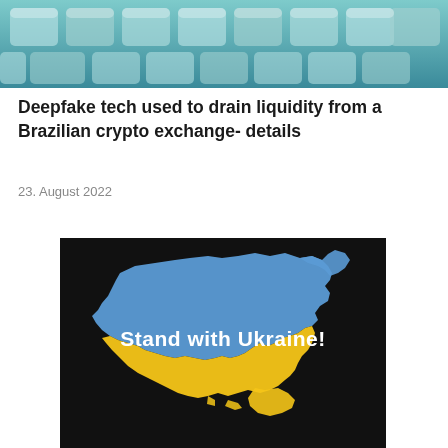[Figure (photo): Close-up photo of keyboard keys with teal/blue tones]
Deepfake tech used to drain liquidity from a Brazilian crypto exchange- details
23. August 2022
[Figure (illustration): Map of Ukraine filled with blue (top half) and yellow (bottom half) colors on a black background, with white text reading 'Stand with Ukraine!']